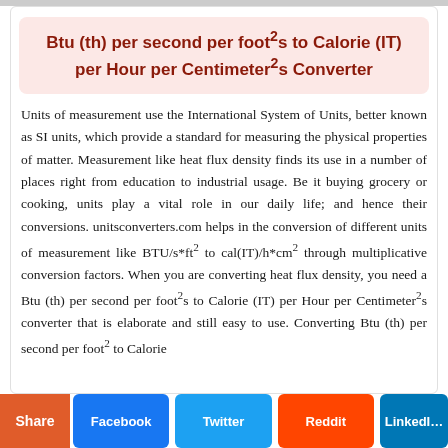Btu (th) per second per foot²s to Calorie (IT) per Hour per Centimeter²s Converter
Units of measurement use the International System of Units, better known as SI units, which provide a standard for measuring the physical properties of matter. Measurement like heat flux density finds its use in a number of places right from education to industrial usage. Be it buying grocery or cooking, units play a vital role in our daily life; and hence their conversions. unitsconverters.com helps in the conversion of different units of measurement like BTU/s*ft² to cal(IT)/h*cm² through multiplicative conversion factors. When you are converting heat flux density, you need a Btu (th) per second per foot²s to Calorie (IT) per Hour per Centimeter²s converter that is elaborate and still easy to use. Converting Btu (th) per second per foot² to Calorie
Share | Facebook | Twitter | Reddit | LinkedIn